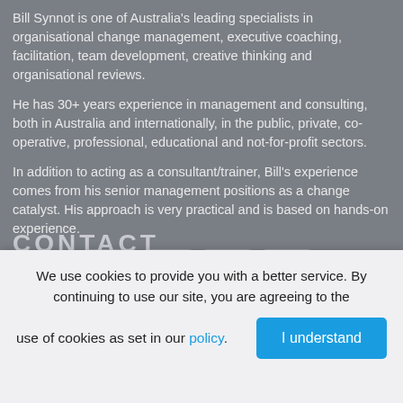Bill Synnot is one of Australia's leading specialists in organisational change management, executive coaching, facilitation, team development, creative thinking and organisational reviews.
He has 30+ years experience in management and consulting, both in Australia and internationally, in the public, private, co-operative, professional, educational and not-for-profit sectors.
In addition to acting as a consultant/trainer, Bill's experience comes from his senior management positions as a change catalyst. His approach is very practical and is based on hands-on experience.
Follow Us
[Figure (infographic): Social media icons: Facebook, LinkedIn, Twitter, YouTube]
CONTACT
We use cookies to provide you with a better service. By continuing to use our site, you are agreeing to the use of cookies as set in our policy.
I understand